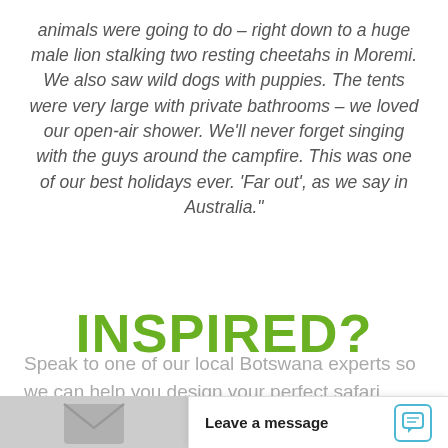animals were going to do – right down to a huge male lion stalking two resting cheetahs in Moremi. We also saw wild dogs with puppies. The tents were very large with private bathrooms – we loved our open-air shower. We'll never forget singing with the guys around the campfire. This was one of our best holidays ever. 'Far out', as we say in Australia."
INSPIRED?
Speak to one of our local Botswana experts so we can help you design your perfect safari
Leave a message